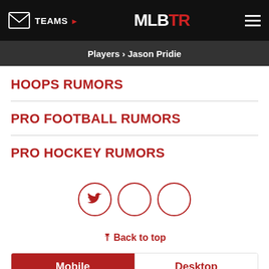TEAMS ▶  MLBTR  ≡
Players › Jason Pridie
HOOPS RUMORS
PRO FOOTBALL RUMORS
PRO HOCKEY RUMORS
[Figure (other): Social media icon buttons: Twitter (bird icon), and two empty circles, all outlined in dark red]
⌃ Back to top
Mobile  Desktop
ADVERTISEMENT